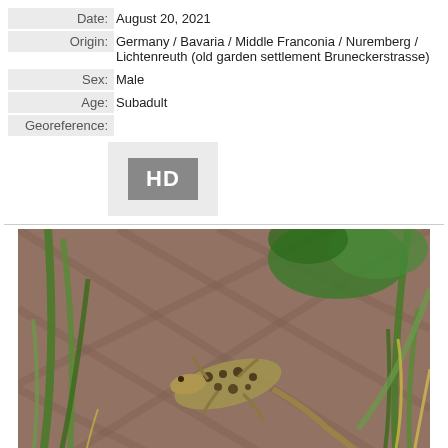| Date: | August 20, 2021 |
| Origin: | Germany / Bavaria / Middle Franconia / Nuremberg / Lichtenreuth (old garden settlement Bruneckerstrasse) |
| Sex: | Male |
| Age: | Subadult |
| Georeference: |  |
[Figure (other): HD badge icon in gray square]
[Figure (photo): Photo of a subadult male sand lizard (Lacerta agilis) resting on brick pavement surrounded by grass blades and green plants, taken August 20, 2021 in Nuremberg, Germany.]